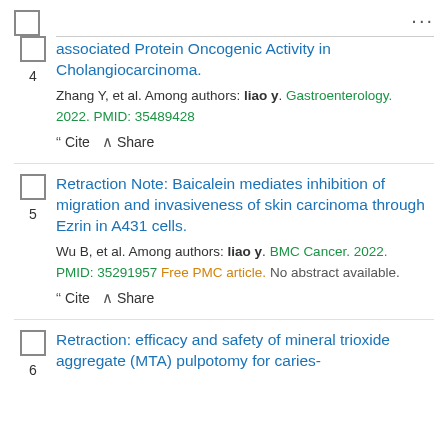4. associated Protein Oncogenic Activity in Cholangiocarcinoma. Zhang Y, et al. Among authors: liao y. Gastroenterology. 2022. PMID: 35489428
5. Retraction Note: Baicalein mediates inhibition of migration and invasiveness of skin carcinoma through Ezrin in A431 cells. Wu B, et al. Among authors: liao y. BMC Cancer. 2022. PMID: 35291957 Free PMC article. No abstract available.
6. Retraction: efficacy and safety of mineral trioxide aggregate (MTA) pulpotomy for caries-